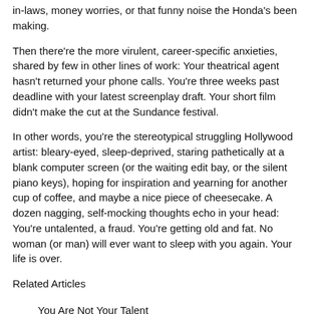in-laws, money worries, or that funny noise the Honda's been making.
Then there're the more virulent, career-specific anxieties, shared by few in other lines of work: Your theatrical agent hasn't returned your phone calls. You're three weeks past deadline with your latest screenplay draft. Your short film didn't make the cut at the Sundance festival.
In other words, you're the stereotypical struggling Hollywood artist: bleary-eyed, sleep-deprived, staring pathetically at a blank computer screen (or the waiting edit bay, or the silent piano keys), hoping for inspiration and yearning for another cup of coffee, and maybe a nice piece of cheesecake. A dozen nagging, self-mocking thoughts echo in your head: You're untalented, a fraud. You're getting old and fat. No woman (or man) will ever want to sleep with you again. Your life is over.
Related Articles
You Are Not Your Talent
The Switch, Part II: Ingredients of the Hollywood Formula